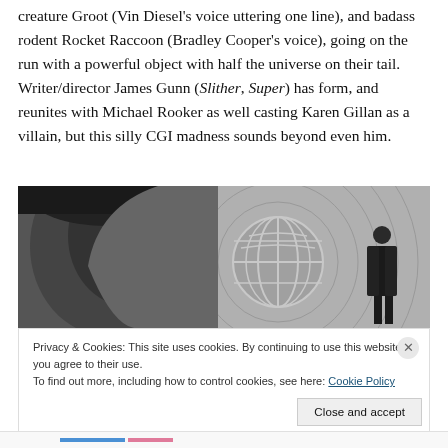creature Groot (Vin Diesel's voice uttering one line), and badass rodent Rocket Raccoon (Bradley Cooper's voice), going on the run with a powerful object with half the universe on their tail. Writer/director James Gunn (Slither, Super) has form, and reunites with Michael Rooker as well casting Karen Gillan as a villain, but this silly CGI madness sounds beyond even him.
[Figure (photo): Black and white photo of a man's face close-up on the left, with a globe/world icon in the center and a silhouette of a man in a suit on the right, against a grey background with concentric circular lines.]
Privacy & Cookies: This site uses cookies. By continuing to use this website, you agree to their use.
To find out more, including how to control cookies, see here: Cookie Policy
Close and accept